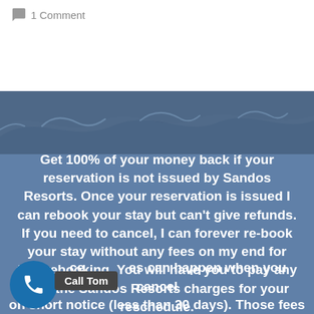1 Comment
[Figure (illustration): Blue ocean wave decorative banner background with dark slate-blue wave shapes at the top of the colored section]
Get 100% of your money back if your reservation is not issued by Sandos Resorts. Once your reservation is issued I can rebook your stay but can't give refunds. If you need to cancel, I can forever re-book your stay without any fees on my end for that rebooking. You will have you to pay any fees the Sandos Resorts charges for your reschedule.
ce es can happen when you cancel on short notice (less than 30 days). Those fees